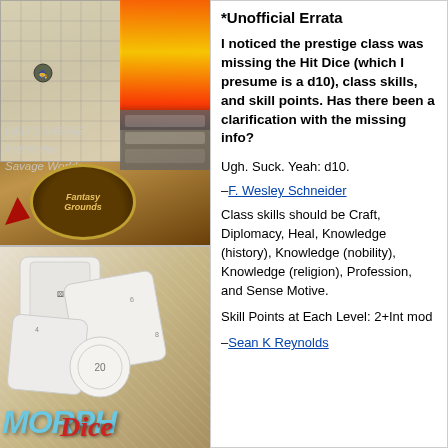[Figure (screenshot): Screenshot of a tabletop RPG virtual tabletop software showing a grid map with a character token and fire/flame effect, with Fantasy Grounds logo at bottom, and text labels 'D&D 3.5/4E/5E', 'Pathfinder', 'Savage Worlds']
[Figure (photo): Photo of white polyhedral dice piled together with 'MORPH Dice' branding text in blue and red]
*Unofficial Errata
I noticed the prestige class was missing the Hit Dice (which I presume is a d10), class skills, and skill points. Has there been a clarification with the missing info?
Ugh. Suck. Yeah: d10.
–F. Wesley Schneider
Class skills should be Craft, Diplomacy, Heal, Knowledge (history), Knowledge (nobility), Knowledge (religion), Profession, and Sense Motive.
Skill Points at Each Level: 2+Int mod
–Sean K Reynolds